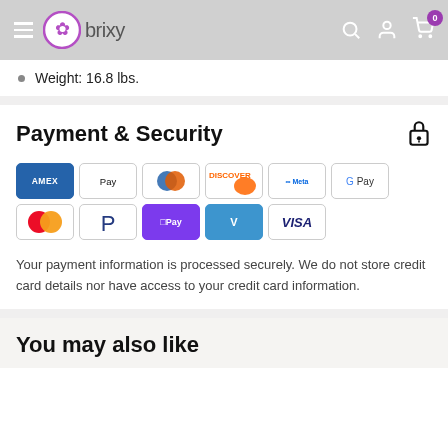brixy
Weight: 16.8 lbs.
Payment & Security
[Figure (other): Payment method icons: American Express, Apple Pay, Diners Club, Discover, Meta, Google Pay, Mastercard, PayPal, OPay, Venmo, Visa]
Your payment information is processed securely. We do not store credit card details nor have access to your credit card information.
You may also like